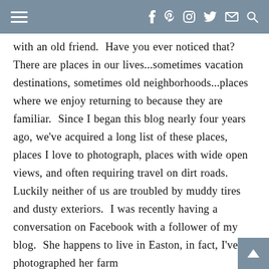≡  f  p  ○  y  ✉  🔍
with an old friend.  Have you ever noticed that?  There are places in our lives...sometimes vacation destinations, sometimes old neighborhoods...places where we enjoy returning to because they are familiar.  Since I began this blog nearly four years ago, we've acquired a long list of these places, places I love to photograph, places with wide open views, and often requiring travel on dirt roads.  Luckily neither of us are troubled by muddy tires and dusty exteriors.  I was recently having a conversation on Facebook with a follower of my blog.  She happens to live in Easton, in fact, I've photographed her farm